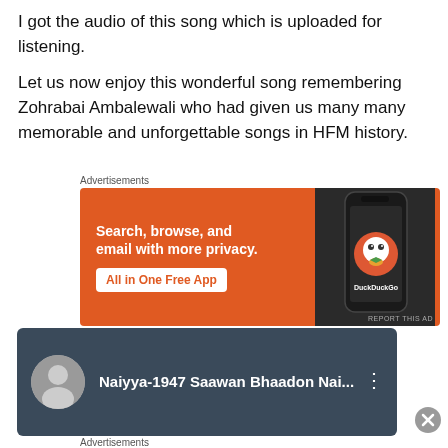I got the audio of this song which is uploaded for listening.
Let us now enjoy this wonderful song remembering Zohrabai Ambalewali who had given us many many memorable and unforgettable songs in HFM history.
[Figure (screenshot): DuckDuckGo advertisement banner: orange background with text 'Search, browse, and email with more privacy. All in One Free App' and a phone showing DuckDuckGo app]
[Figure (screenshot): YouTube embed showing 'Naiyya-1947 Saawan Bhaadon Nai...' with a circular avatar photo and three-dot menu]
[Figure (screenshot): Second DuckDuckGo advertisement banner, smaller version]